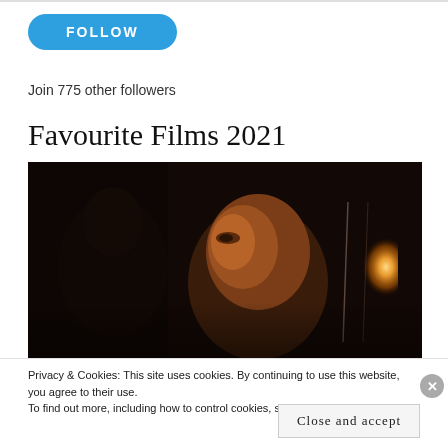FOLLOW
Join 775 other followers
Favourite Films 2021
[Figure (photo): Dark cinematic film still showing an Asian person's face illuminated from the right side, with another figure in the background, inside a vehicle at night with warm orange light from a window]
Privacy & Cookies: This site uses cookies. By continuing to use this website, you agree to their use.
To find out more, including how to control cookies, see here: Cookie Policy
Close and accept